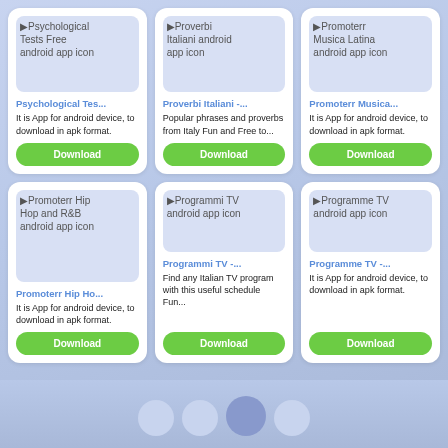[Figure (screenshot): App card: Psychological Tests Free android app icon]
Psychological Tes...
It is App for android device, to download in apk format.
[Figure (screenshot): App card: Proverbi Italiani android app icon]
Proverbi Italiani -...
Popular phrases and proverbs from Italy Fun and Free to...
[Figure (screenshot): App card: Promoterr Musica Latina android app icon]
Promoterr Musica...
It is App for android device, to download in apk format.
[Figure (screenshot): App card: Promoterr Hip Hop and R&B android app icon]
Promoterr Hip Ho...
It is App for android device, to download in apk format.
[Figure (screenshot): App card: Programmi TV android app icon]
Programmi TV -...
Find any Italian TV program with this useful schedule Fun...
[Figure (screenshot): App card: Programme TV android app icon]
Programme TV -...
It is App for android device, to download in apk format.